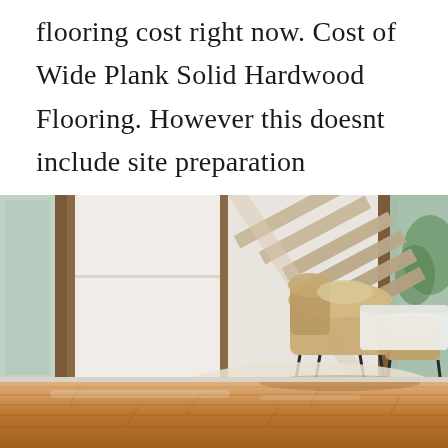flooring cost right now. Cost of Wide Plank Solid Hardwood Flooring. However this doesnt include site preparation underlayment fixes closets and pattern changes.
[Figure (photo): Interior room with wide plank hardwood flooring, modern floating staircase, a lounge chair with cushion, white walls, and large windows.]